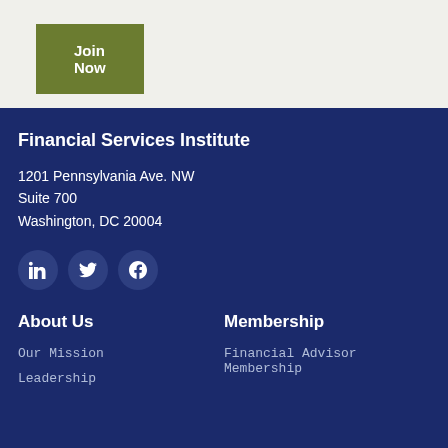Join Now
Financial Services Institute
1201 Pennsylvania Ave. NW
Suite 700
Washington, DC 20004
[Figure (infographic): Three social media icon circles: LinkedIn, Twitter, Facebook]
About Us
Membership
Our Mission
Leadership
Financial Advisor Membership